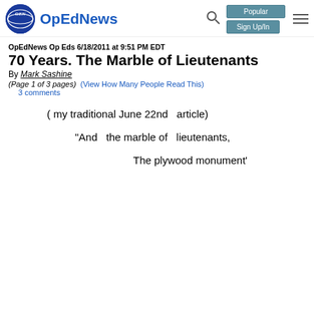OpEdNews | Popular | Sign Up/In
OpEdNews Op Eds 6/18/2011 at 9:51 PM EDT
70 Years. The Marble of Lieutenants
By Mark Sashine
(Page 1 of 3 pages)  (View How Many People Read This)
3 comments
( my traditional June 22nd   article)
"And   the marble of   lieutenants,
The plywood monument'